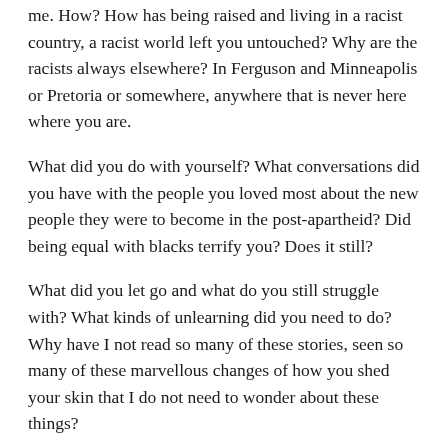me. How? How has being raised and living in a racist country, a racist world left you untouched? Why are the racists always elsewhere? In Ferguson and Minneapolis or Pretoria or somewhere, anywhere that is never here where you are.
What did you do with yourself? What conversations did you have with the people you loved most about the new people they were to become in the post-apartheid? Did being equal with blacks terrify you? Does it still?
What did you let go and what do you still struggle with? What kinds of unlearning did you need to do? Why have I not read so many of these stories, seen so many of these marvellous changes of how you shed your skin that I do not need to wonder about these things?
I think about these things all the time. How someone can grow up in a racist country and not imagine that they have racist behaviours. And the ways in which anti-black racism is